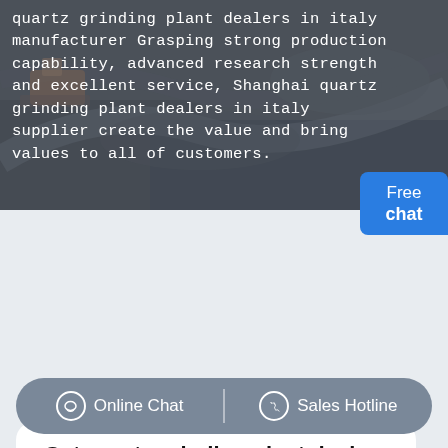[Figure (photo): Aerial view of a mining quarry/excavation site with heavy machinery and excavated terrain, dark grey rocky ground with construction equipment visible]
quartz grinding plant dealers in italy manufacturer Grasping strong production capability, advanced research strength and excellent service, Shanghai quartz grinding plant dealers in italy supplier create the value and bring values to all of customers.
Free chat
Get quartz grinding plant dealers in italy Price supplier@pfpew.com
Products: Please Select!
Online Chat  |  Sales Hotline